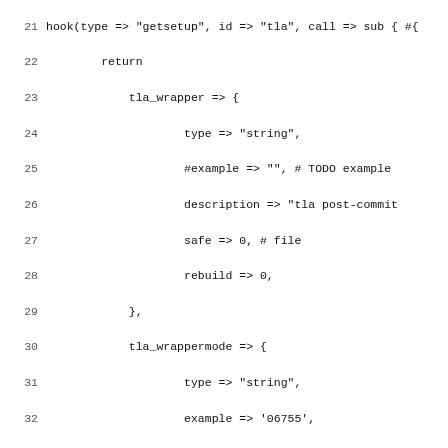[Figure (screenshot): Source code listing in monospace font showing Perl/code with line numbers 21-53, defining hook configuration with tla_wrapper, tla_wrappermode, historyurl, and diffurl settings.]